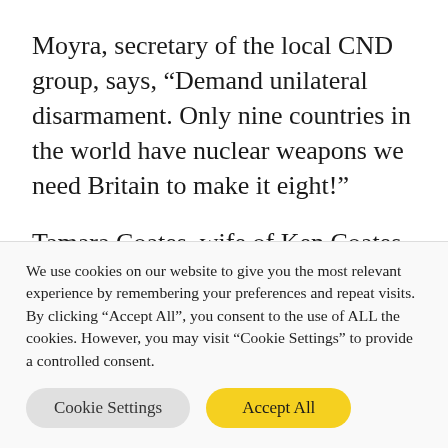Moyra, secretary of the local CND group, says, “Demand unilateral disarmament. Only nine countries in the world have nuclear weapons we need Britain to make it eight!”
Tamara Coates, wife of Ken Coates, former MEP, remembers Ken setting up European Nuclear DIsarmament with the slogan “No nukes from Portugal to Poland.
We use cookies on our website to give you the most relevant experience by remembering your preferences and repeat visits. By clicking “Accept All”, you consent to the use of ALL the cookies. However, you may visit "Cookie Settings" to provide a controlled consent.